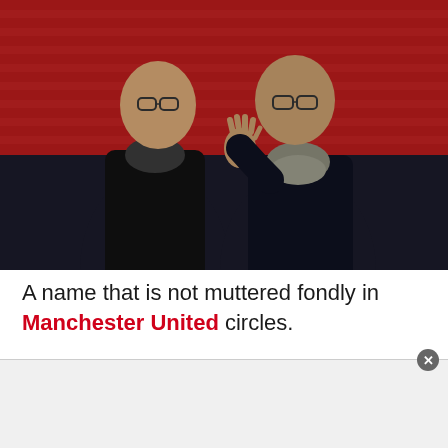[Figure (photo): Two men in dark winter coats standing in a football stadium with red seats in the background. The man on the right is waving. Both wear glasses and scarves.]
A name that is not muttered fondly in Manchester United circles.